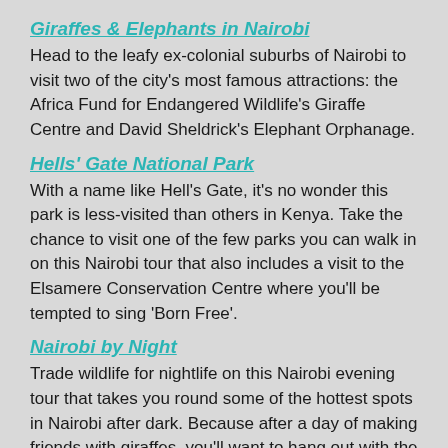Giraffes & Elephants in Nairobi
Head to the leafy ex-colonial suburbs of Nairobi to visit two of the city's most famous attractions: the Africa Fund for Endangered Wildlife's Giraffe Centre and David Sheldrick's Elephant Orphanage.
Hells' Gate National Park
With a name like Hell's Gate, it's no wonder this park is less-visited than others in Kenya. Take the chance to visit one of the few parks you can walk in on this Nairobi tour that also includes a visit to the Elsamere Conservation Centre where you'll be tempted to sing 'Born Free'.
Nairobi by Night
Trade wildlife for nightlife on this Nairobi evening tour that takes you round some of the hottest spots in Nairobi after dark. Because after a day of making friends with giraffes, you'll want to hang out with the